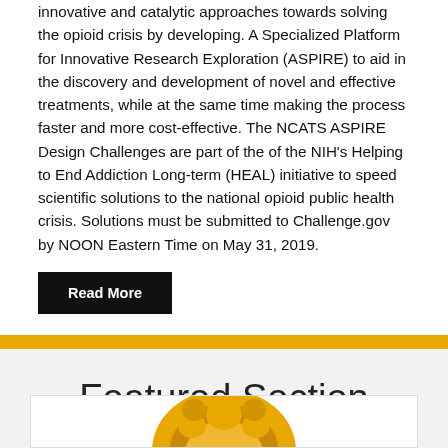innovative and catalytic approaches towards solving the opioid crisis by developing. A Specialized Platform for Innovative Research Exploration (ASPIRE) to aid in the discovery and development of novel and effective treatments, while at the same time making the process faster and more cost-effective. The NCATS ASPIRE Design Challenges are part of the of the NIH's Helping to End Addiction Long-term (HEAL) initiative to speed scientific solutions to the national opioid public health crisis. Solutions must be submitted to Challenge.gov by NOON Eastern Time on May 31, 2019.
Read More
Community
Featured Section
[Figure (illustration): Partial view of a golden/yellow lion illustration at the bottom of the page]